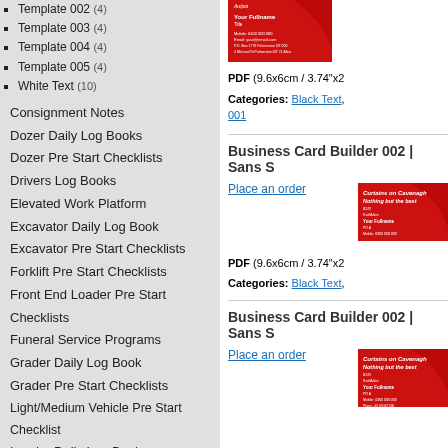Template 002 (4)
Template 003 (4)
Template 004 (4)
Template 005 (4)
White Text (10)
Consignment Notes
Dozer Daily Log Books
Dozer Pre Start Checklists
Drivers Log Books
Elevated Work Platform
Excavator Daily Log Book
Excavator Pre Start Checklists
Forklift Pre Start Checklists
Front End Loader Pre Start Checklists
Funeral Service Programs
Grader Daily Log Book
Grader Pre Start Checklists
Light/Medium Vehicle Pre Start Checklist
Loader Daily Log Book
[Figure (screenshot): Business card builder product image - red background with white text showing Curtains on Cavenagh, top card]
PDF (9.6x6cm / 3.74"x2)
Categories: Black Text, 001
Business Card Builder 002 | Sans S
Place an order
[Figure (screenshot): Business card builder product image - red background with white text showing Curtains on Cavenagh Nothing but the best, middle card]
PDF (9.6x6cm / 3.74"x2)
Categories: Black Text,
Business Card Builder 002 | Sans S
Place an order
[Figure (screenshot): Business card builder product image - red background with white text showing Curtains on Cavenagh Nothing but the best, bottom card]